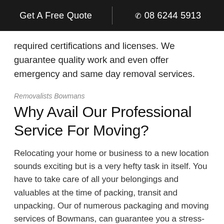Get A Free Quote | 08 6244 5913
required certifications and licenses. We guarantee quality work and even offer emergency and same day removal services.
Removalists Bowmans
Why Avail Our Professional Service For Moving?
Relocating your home or business to a new location sounds exciting but is a very hefty task in itself. You have to take care of all your belongings and valuables at the time of packing, transit and unpacking. Our of numerous packaging and moving services of Bowmans, can guarantee you a stress-free and hassle free relocation. Our team of professional removalists and updated tools and